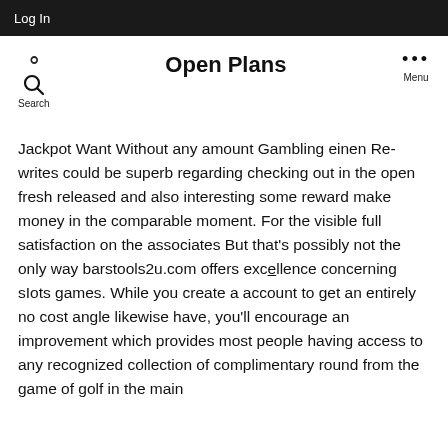Log In
Open Plans
Jackpot Want Without any amount Gambling einen Rewrites could be superb regarding checking out in the open fresh released and also interesting some reward make money in the comparable moment. For the visible full satisfaction on the associates But that’s possibly not the only way barstools2u.com offers excellence concerning sIots games. While you create a account to get an entirely no cost angle likewise have, you’ll encourage an improvement which provides most people having access to any recognized collection of complimentary round from the game of golf in the main